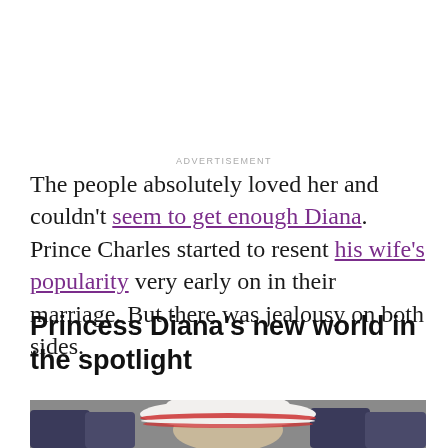ADVERTISEMENT
The people absolutely loved her and couldn't seem to get enough Diana. Prince Charles started to resent his wife's popularity very early on in their marriage. But there was jealousy on both sides.
Princess Diana's new world in the spotlight
[Figure (photo): Photo of Princess Diana wearing a white hat with red stripes, surrounded by people in the background]